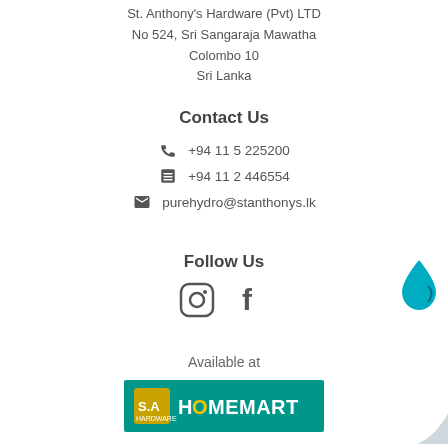St. Anthony's Hardware (Pvt) LTD
No 524, Sri Sangaraja Mawatha
Colombo 10
Sri Lanka
Contact Us
+94 11 5 225200
+94 11 2 446554
purehydro@stanthonys.lk
Follow Us
[Figure (illustration): Instagram and Facebook social media icons]
Available at
[Figure (logo): SA Homemart logo on teal background]